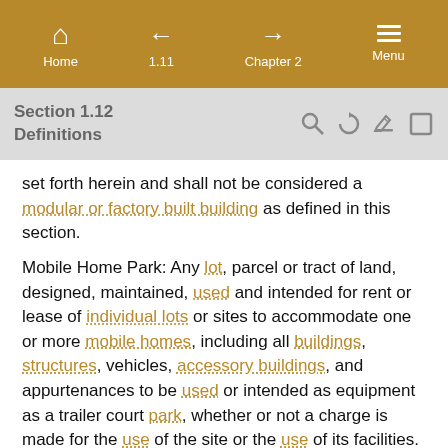Home | 1.11 | Chapter 2 | Menu
Section 1.12
Definitions
set forth herein and shall not be considered a modular or factory built building as defined in this section.
Mobile Home Park: Any lot, parcel or tract of land, designed, maintained, used and intended for rent or lease of individual lots or sites to accommodate one or more mobile homes, including all buildings, structures, vehicles, accessory buildings, and appurtenances to be used or intended as equipment as a trailer court park, whether or not a charge is made for the use of the site or the use of its facilities. A mobile home park does not include